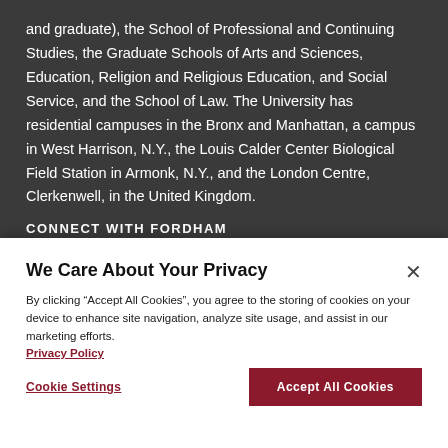and graduate), the School of Professional and Continuing Studies, the Graduate Schools of Arts and Sciences, Education, Religion and Religious Education, and Social Service, and the School of Law. The University has residential campuses in the Bronx and Manhattan, a campus in West Harrison, N.Y., the Louis Calder Center Biological Field Station in Armonk, N.Y., and the London Centre, Clerkenwell, in the United Kingdom.
CONNECT WITH FORDHAM
We Care About Your Privacy
By clicking “Accept All Cookies”, you agree to the storing of cookies on your device to enhance site navigation, analyze site usage, and assist in our marketing efforts. Privacy Policy
Cookie Settings
Accept All Cookies